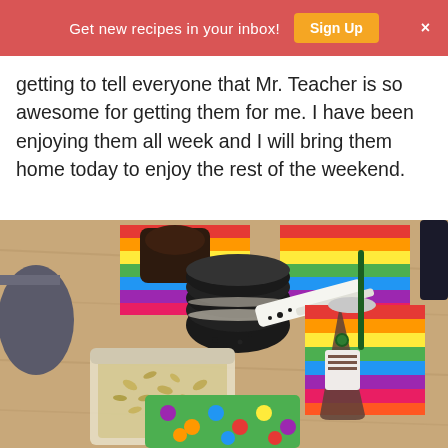Get new recipes in your inbox! Sign Up ×
getting to tell everyone that Mr. Teacher is so awesome for getting them for me. I have been enjoying them all week and I will bring them home today to enjoy the rest of the weekend.
[Figure (photo): A classroom desk with snacks: a bag of pasta/snacks, Oreo cookies with a spatula, a Starbucks iced drink, and colorful polka-dot and striped napkins/papers on a wooden desk surface.]